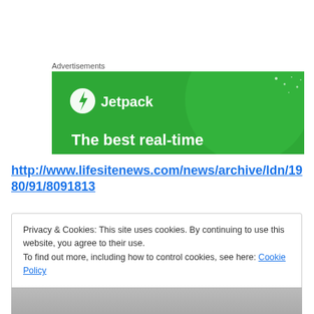Advertisements
[Figure (illustration): Jetpack advertisement banner with green background, Jetpack logo (lightning bolt in circle) and text 'The best real-time']
http://www.lifesitenews.com/news/archive/ldn/1980/91/80911813
Privacy & Cookies: This site uses cookies. By continuing to use this website, you agree to their use.
To find out more, including how to control cookies, see here: Cookie Policy
Close and accept
[Figure (photo): Bottom partial photo showing people]